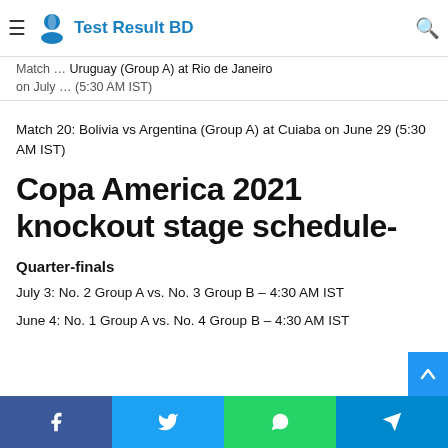Test Result BD
Match … Uruguay (Group A) at Rio de Janeiro on July … (5:30 AM IST)
Match 20: Bolivia vs Argentina (Group A) at Cuiaba on June 29 (5:30 AM IST)
Copa America 2021 knockout stage schedule-
Quarter-finals
July 3: No. 2 Group A vs. No. 3 Group B – 4:30 AM IST
June 4: No. 1 Group A vs. No. 4 Group B – 4:30 AM IST